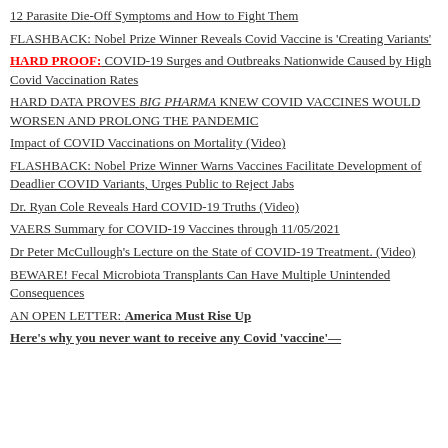12 Parasite Die-Off Symptoms and How to Fight Them
FLASHBACK: Nobel Prize Winner Reveals Covid Vaccine is 'Creating Variants'
HARD PROOF: COVID-19 Surges and Outbreaks Nationwide Caused by High Covid Vaccination Rates
HARD DATA PROVES BIG PHARMA KNEW COVID VACCINES WOULD WORSEN AND PROLONG THE PANDEMIC
Impact of COVID Vaccinations on Mortality (Video)
FLASHBACK: Nobel Prize Winner Warns Vaccines Facilitate Development of Deadlier COVID Variants, Urges Public to Reject Jabs
Dr. Ryan Cole Reveals Hard COVID-19 Truths (Video)
VAERS Summary for COVID-19 Vaccines through 11/05/2021
Dr Peter McCullough's Lecture on the State of COVID-19 Treatment. (Video)
BEWARE! Fecal Microbiota Transplants Can Have Multiple Unintended Consequences
AN OPEN LETTER: America Must Rise Up
Here's why you never want to receive any Covid 'vaccine'—